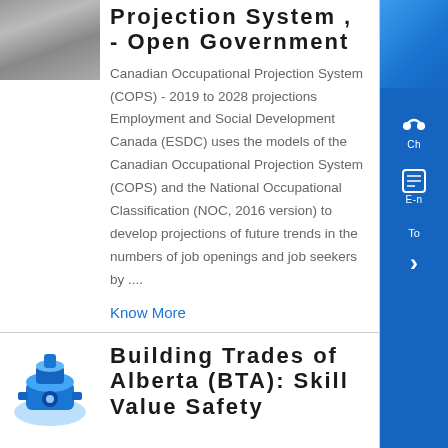[Figure (photo): Small thumbnail image of industrial/construction material]
Projection System , - Open Government
Canadian Occupational Projection System (COPS) - 2019 to 2028 projections Employment and Social Development Canada (ESDC) uses the models of the Canadian Occupational Projection System (COPS) and the National Occupational Classification (NOC, 2016 version) to develop projections of future trends in the numbers of job openings and job seekers by ....
Know More
[Figure (photo): Blue industrial machinery (looks like a pump or compressor)]
Building Trades of Alberta (BTA): Skill Value Safety